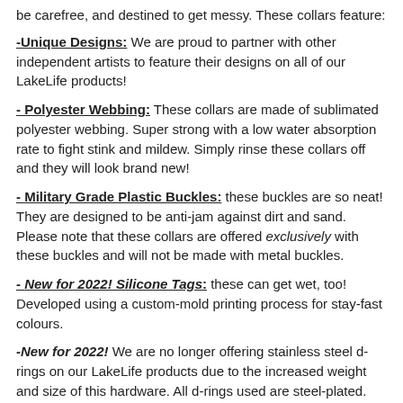be carefree, and destined to get messy.  These collars feature:
-Unique Designs: We are proud to partner with other independent artists to feature their designs on all of our LakeLife products!
- Polyester Webbing: These collars are made of sublimated polyester webbing.  Super strong with a low water absorption rate to fight stink and mildew. Simply rinse these collars off and they will look brand new!
- Military Grade Plastic Buckles: these buckles are so neat! They are designed to be anti-jam against dirt and sand.  Please note that these collars are offered exclusively with these buckles and will not be made with metal buckles.
- New for 2022! Silicone Tags: these can get wet, too! Developed using a custom-mold printing process for stay-fast colours.
-New for 2022! We are no longer offering stainless steel d-rings on our LakeLife products due to the increased weight and size of this hardware. All d-rings used are steel-plated. Please note that some listing photographs may feature photos of previously used stainless steel hardware.